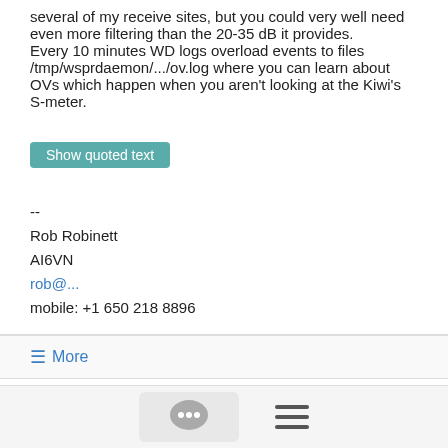several of my receive sites, but you could very well need even more filtering than the 20-35 dB it provides.
Every 10 minutes WD logs overload events to files /tmp/wsprdaemon/.../ov.log where you can learn about OVs which happen when you aren't looking at the Kiwi's S-meter.
Show quoted text
--
Rob Robinett
AI6VN
rob@...
mobile: +1 650 218 8896
≡ More
Re: Radio "limbo"
Bruce KX4AZ  10/17/21